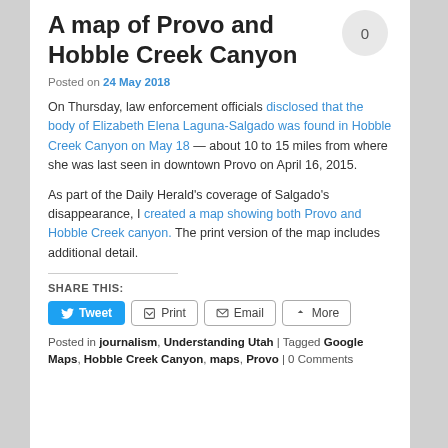A map of Provo and Hobble Creek Canyon
Posted on 24 May 2018
On Thursday, law enforcement officials disclosed that the body of Elizabeth Elena Laguna-Salgado was found in Hobble Creek Canyon on May 18 — about 10 to 15 miles from where she was last seen in downtown Provo on April 16, 2015.
As part of the Daily Herald's coverage of Salgado's disappearance, I created a map showing both Provo and Hobble Creek canyon. The print version of the map includes additional detail.
SHARE THIS:
Tweet  Print  Email  More
Posted in journalism, Understanding Utah | Tagged Google Maps, Hobble Creek Canyon, maps, Provo | 0 Comments